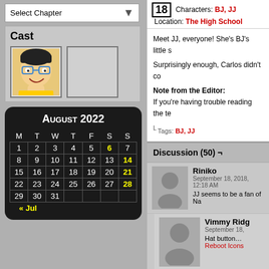Select Chapter
Cast
[Figure (illustration): Character avatar - cartoon person with glasses]
[Figure (illustration): Empty cast slot placeholder]
August 2022 calendar showing M T W T F S S headers and dates 1-31, with 6, 14, 21, 28 highlighted in yellow, and « Jul navigation
18 Characters: BJ, JJ Location: The High School
Meet JJ, everyone! She's BJ's little s
Surprisingly enough, Carlos didn't co
Note from the Editor: If you're having trouble reading the te
Tags: BJ, JJ
Discussion (50) ¬
Riniko
September 18, 2018, 12:18 AM
JJ seems to be a fan of Na
Vimmy Ridg
September 18,
Hat button...
Reboot Icons